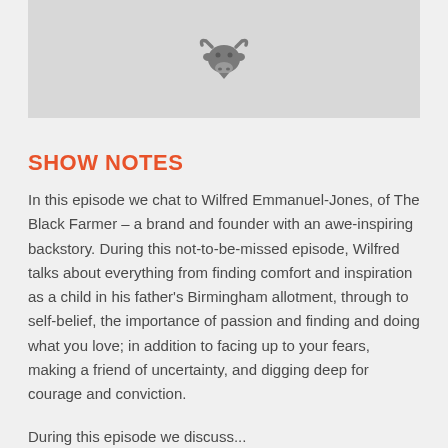[Figure (logo): Gray rectangular image area with a dark gray bull/cow head icon centered within it]
SHOW NOTES
In this episode we chat to Wilfred Emmanuel-Jones, of The Black Farmer – a brand and founder with an awe-inspiring backstory. During this not-to-be-missed episode, Wilfred talks about everything from finding comfort and inspiration as a child in his father's Birmingham allotment, through to self-belief, the importance of passion and finding and doing what you love; in addition to facing up to your fears, making a friend of uncertainty, and digging deep for courage and conviction.
During this episode we discuss...